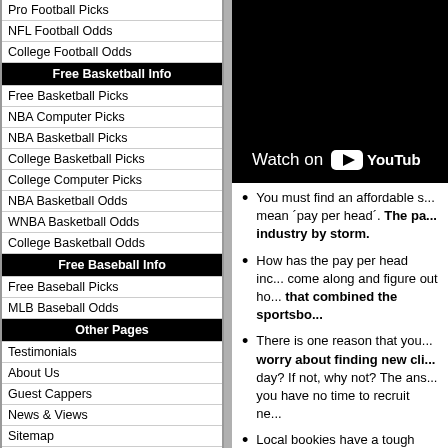Pro Football Picks
NFL Football Odds
College Football Odds
Free Basketball Info
Free Basketball Picks
NBA Computer Picks
NBA Basketball Picks
College Basketball Picks
College Computer Picks
NBA Basketball Odds
WNBA Basketball Odds
College Basketball Odds
Free Baseball Info
Free Baseball Picks
MLB Baseball Odds
Other Pages
Testimonials
About Us
Guest Cappers
News & Views
Sitemap
Sports Handicappers
Link Information
Contact Us
Forgotten Password
Customer Service
Webmaster
Advertising
Guest Handicappers
Doc's Sports
[Figure (screenshot): YouTube video embed with 'Watch on YouTube' badge on black background]
You must find an affordable s... mean 'pay per head'. The pa... industry by storm.
How has the pay per head inc... come along and figure out ho... that combined the sportsbo...
There is one reason that you... worry about finding new cli... day? If not, why not? The ans... you have no time to recruit ne...
Local bookies have a tough jo... only man – ha, well, do you s... man' but at the same time it's... leaves you no time to recru...